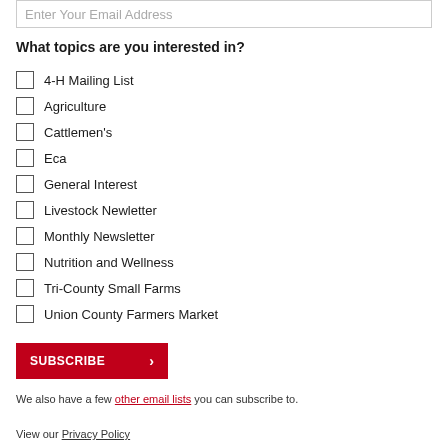Enter Your Email Address
What topics are you interested in?
4-H Mailing List
Agriculture
Cattlemen's
Eca
General Interest
Livestock Newletter
Monthly Newsletter
Nutrition and Wellness
Tri-County Small Farms
Union County Farmers Market
SUBSCRIBE →
We also have a few other email lists you can subscribe to.
View our Privacy Policy